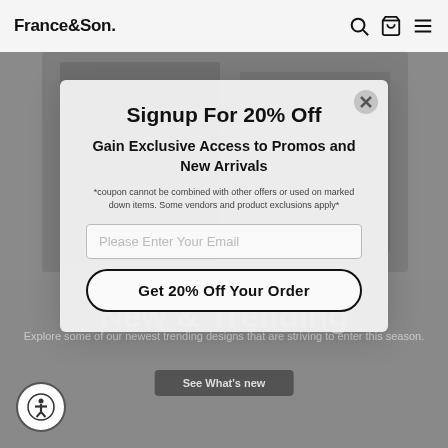France&Son
[Figure (screenshot): E-commerce website screenshot showing France&Son header with search, cart, and menu icons, background image of furniture/decor items, and overlay modal popup for 20% off signup]
Signup For 20% Off
Gain Exclusive Access to Promos and New Arrivals
*coupon cannot be combined with other offers or used on marked down items. Some vendors and product exclusions apply*
Please Enter Your Email
Get 20% Off Your Order
New & Trending
Explore some of our newest trending designs that are striving to enter this season.
See What's new